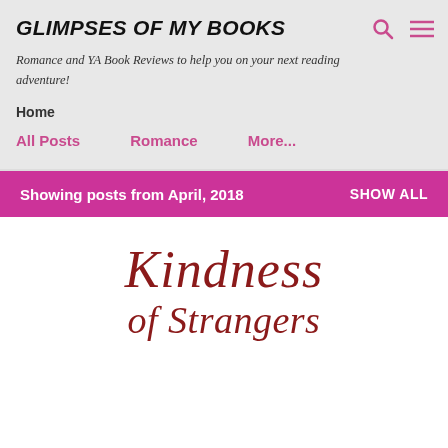GLIMPSES OF MY BOOKS
Romance and YA Book Reviews to help you on your next reading adventure!
Home
All Posts
Romance
More...
Showing posts from April, 2018   SHOW ALL
[Figure (illustration): Book cover text in dark red cursive script reading 'Kindness of Strangers' on white background]